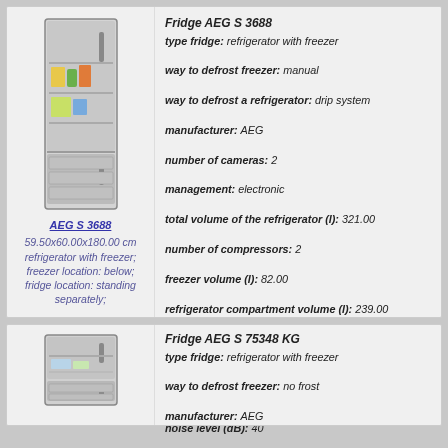[Figure (photo): Photo of AEG S 3688 refrigerator with freezer, open door showing interior shelves and food items]
AEG S 3688
59.50x60.00x180.00 cm
refrigerator with freezer;
freezer location: below;
fridge location: standing separately;
Fridge AEG S 3688
type fridge: refrigerator with freezer
way to defrost freezer: manual
way to defrost a refrigerator: drip system
manufacturer: AEG
number of cameras: 2
management: electronic
total volume of the refrigerator (l): 321.00
number of compressors: 2
freezer volume (l): 82.00
refrigerator compartment volume (l): 239.00
width (cm): 59.50
height (cm): 180.00
depth (cm): 60.00
noise level (dB): 40
ability to change the position of the door
mode "vacation"
energy class: class a
power consumption (kWh/year): 0.00
minimum temperature in the freezing chamber (C): -12
additional options: temperature display
standalone cold preservation (h): 25
number of doors: 2
power freezing (kg/day): 12.00
more information
[Figure (photo): Photo of AEG S 75348 KG refrigerator with freezer]
Fridge AEG S 75348 KG
type fridge: refrigerator with freezer
way to defrost freezer: no frost
manufacturer: AEG